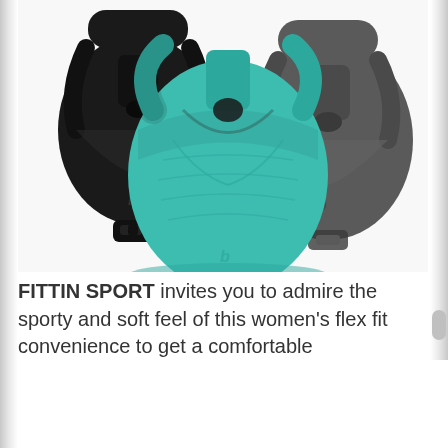[Figure (photo): Three sports bras displayed together: a black one on the left, a teal/turquoise one in the front center, and a dark gray one on the right. Each shows a racerback design with a FITTIN brand logo. The teal bra is prominently featured in the foreground.]
FITTIN SPORT invites you to admire the sporty and soft feel of this women's flex fit convenience to get a comfortable